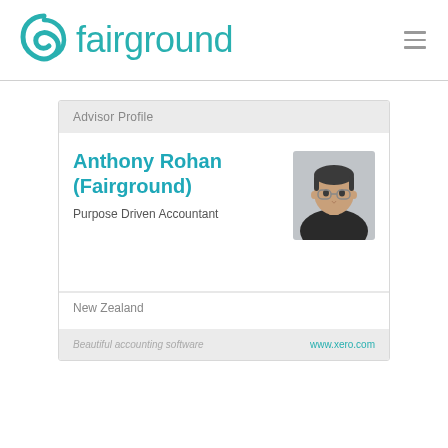[Figure (logo): Fairground logo with teal swirl icon and teal text 'fairground']
Advisor Profile
Anthony Rohan (Fairground)
Purpose Driven Accountant
[Figure (photo): Headshot photo of Anthony Rohan, a man in a dark jacket]
New Zealand
Beautiful accounting software
www.xero.com